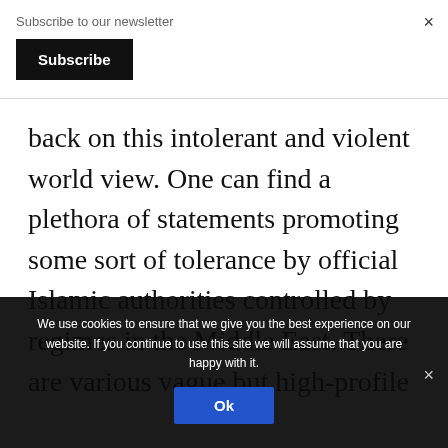Subscribe to our newsletter
Subscribe
×
back on this intolerant and violent world view. One can find a plethora of statements promoting some sort of tolerance by official Islamic authorities controlled by regimes in the Middle East. There are various vague but high-profile
We use cookies to ensure that we give you the best experience on our website. If you continue to use this site we will assume that you are happy with it.
Ok
×